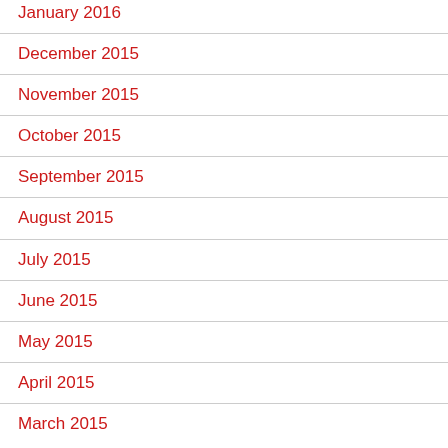January 2016
December 2015
November 2015
October 2015
September 2015
August 2015
July 2015
June 2015
May 2015
April 2015
March 2015